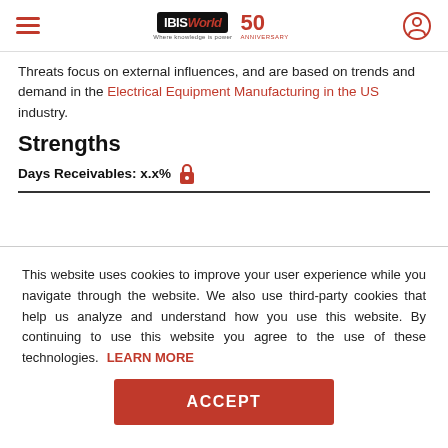IBISWorld 50th Anniversary
Threats focus on external influences, and are based on trends and demand in the Electrical Equipment Manufacturing in the US industry.
Strengths
Days Receivables: x.x% 🔒
This website uses cookies to improve your user experience while you navigate through the website. We also use third-party cookies that help us analyze and understand how you use this website. By continuing to use this website you agree to the use of these technologies. LEARN MORE
ACCEPT